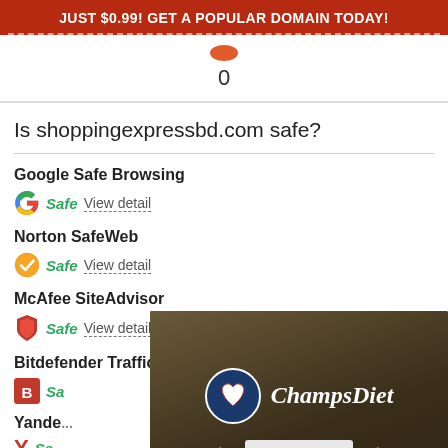JUST $0.99! GET A POPULAR DOMAIN TODAY!
0
Is shoppingexpressbd.com safe?
Google Safe Browsing
Safe View detail
Norton SafeWeb
Safe View detail
McAfee SiteAdvisor
Safe View detail
Bitdefender TrafficLight
Sa...
Yande...
Sa...
[Figure (illustration): ChampsDiet advertisement overlay showing logo with American flag heart circle, ChampsDiet text in italic script, and FREE RECIPES button with arrows]